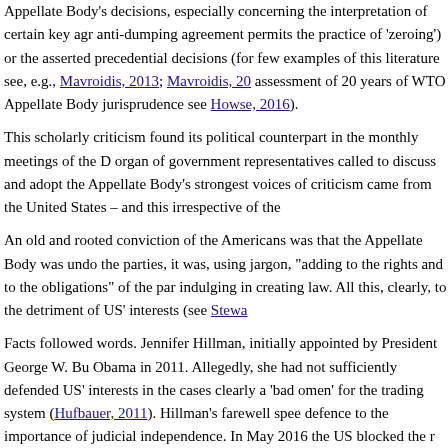Appellate Body's decisions, especially concerning the interpretation of certain key agr anti-dumping agreement permits the practice of 'zeroing') or the asserted precedential decisions (for few examples of this literature see, e.g., Mavroidis, 2013; Mavroidis, 20 assessment of 20 years of WTO Appellate Body jurisprudence see Howse, 2016).
This scholarly criticism found its political counterpart in the monthly meetings of the D organ of government representatives called to discuss and adopt the Appellate Body's strongest voices of criticism came from the United States – and this irrespective of the
An old and rooted conviction of the Americans was that the Appellate Body was undo the parties, it was, using jargon, "adding to the rights and to the obligations" of the par indulging in creating law. All this, clearly, to the detriment of US' interests (see Stewa
Facts followed words. Jennifer Hillman, initially appointed by President George W. Bu Obama in 2011. Allegedly, she had not sufficiently defended US' interests in the cases clearly a 'bad omen' for the trading system (Hufbauer, 2011). Hillman's farewell spee defence to the importance of judicial independence. In May 2016 the US blocked the r the Appellate Body, this time Seung Wha Chang from South Korea. The reason was th jurisprudence articulated in four Appellate Body decisions on which Chang was one o deciding the case" (Charnovitz, 2016). President Trump continued with the blockage, with the effect that the Appellate Body was doomed. The drama concluded with the fie